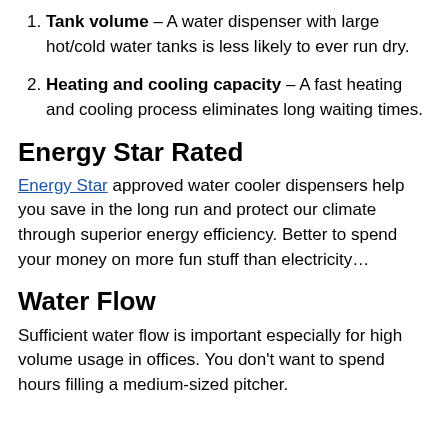Tank volume – A water dispenser with large hot/cold water tanks is less likely to ever run dry.
Heating and cooling capacity – A fast heating and cooling process eliminates long waiting times.
Energy Star Rated
Energy Star approved water cooler dispensers help you save in the long run and protect our climate through superior energy efficiency. Better to spend your money on more fun stuff than electricity…
Water Flow
Sufficient water flow is important especially for high volume usage in offices. You don't want to spend hours filling a medium-sized pitcher.